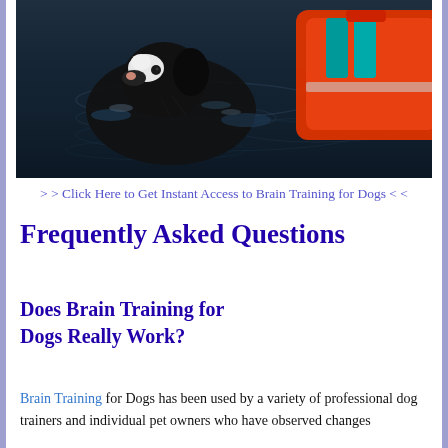[Figure (photo): A dog swimming in dark water wearing an orange life jacket, with the dog's black and white head visible near the surface. The life jacket is bright orange with teal/cyan stripes.]
> > Click Here to Get Instant Access to Brain Training for Dogs < <
Frequently Asked Questions
Does Brain Training for Dogs Really Work?
Brain Training for Dogs has been used by a variety of professional dog trainers and individual pet owners who have observed changes